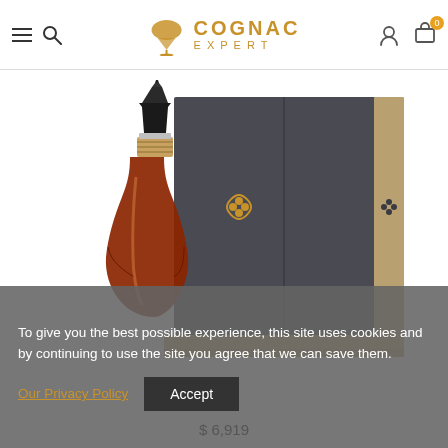Cognac Expert
[Figure (photo): A luxury cognac bottle with dark stopper and woven neck beside a large dark grey cabinet-style box with gold four-leaf clover emblem and wooden base/trim]
To give you the best possible experience, this site uses cookies and by continuing to use the site you agree that we can save them. Our Privacy Policy  Accept
$ 6,919